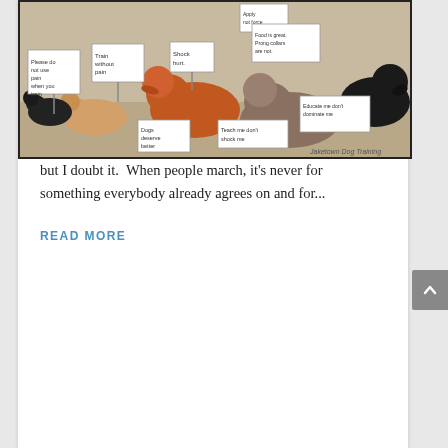[Figure (photo): Collage of dogs holding protest signs with messages like 'Train without pain', 'Please do not use pain when you train', 'Shock hurts', 'Food is great, Prong collars are not', 'Educate me don't dominate me', 'Teach me don't shock me', 'Dogs deserve better'. Watermark reads 'Jaketown Dog Training'.]
If They Could March
by Jean Donaldson | Jan 31, 2022
If They Could March  -by Jean DonaldsonIf dogs could march on Washington, what would they march about?  Adequate food, shelter, veterinary care?  Big ticket stuff, but I doubt it.  When people march, it's never for something everybody already agrees on and for...
READ MORE